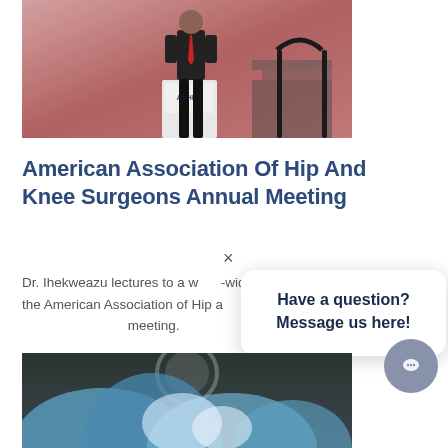[Figure (photo): A man in a dark suit with a red tie speaking at a podium with the AAHKS logo, on a stage with a pink/red background]
American Association Of Hip And Knee Surgeons Annual Meeting
Dr. Ihekweazu lectures to a world-wide audience at the American Association of Hip and Knee Surgeons annual meeting.
[Figure (photo): Surgical scene showing blue surgical drapes and equipment in an operating room]